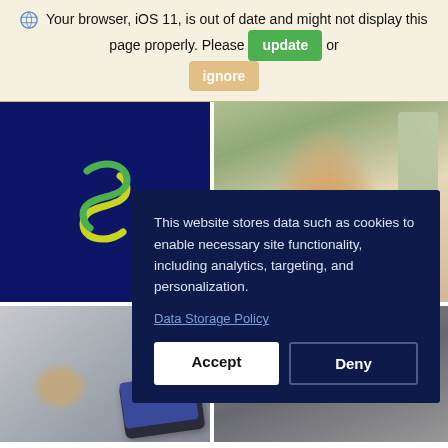Your browser, iOS 11, is out of date and might not display this page properly. Please update or ignore
[Figure (screenshot): Website screenshot showing a dark-navy cookie consent dialog overlaid on a page with a dark blue panel containing a stylized S logo and photo panels. The dialog reads: 'This website stores data such as cookies to enable necessary site functionality, including analytics, targeting, and personalization.' with a 'Data Storage Policy' link and Accept / Deny buttons.]